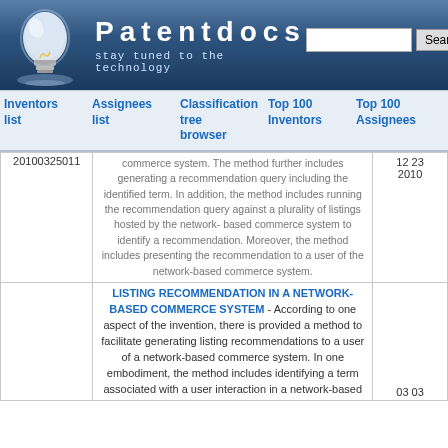[Figure (screenshot): Patentdocs website header with lightbulb logo, site title 'Patentdocs', tagline 'stay tuned to the technology', search box and Search button]
Inventors list | Assignees list | Classification tree browser | Top 100 Inventors | Top 100 Assignees
|  | 20100325011 | Description | 12 23 2010 |
| --- | --- | --- | --- |
|  | 20100325011 | commerce system. The method further includes generating a recommendation query including the identified term. In addition, the method includes running the recommendation query against a plurality of listings hosted by the network-based commerce system to identify a recommendation. Moreover, the method includes presenting the recommendation to a user of the network-based commerce system. | 12 23 2010 |
|  |  | LISTING RECOMMENDATION IN A NETWORK-BASED COMMERCE SYSTEM - According to one aspect of the invention, there is provided a method to facilitate generating listing recommendations to a user of a network-based commerce system. In one embodiment, the method includes identifying a term associated with a user interaction in a network-based | 03 03 |